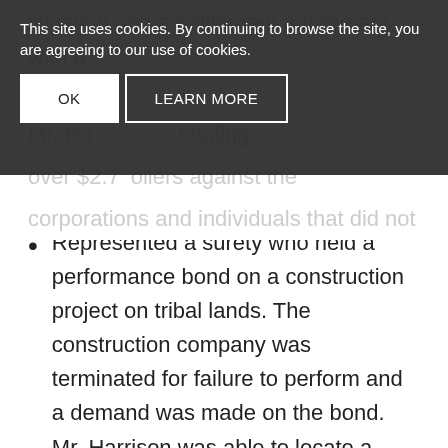litigation and a settlement agreement with a
This site uses cookies. By continuing to browse the site, you are agreeing to our use of cookies. [OK] [LEARN MORE]
Mr. Harrison ... totaling over $2.7 ... ollars against the corporations and individuals that did not settle.
Represented a surety who held a performance bond on a construction project on tribal lands. The construction company was terminated for failure to perform and a demand was made on the bond. Mr. Harrison was able to locate a completion contractor and successfully negotiate a tender agreement, which included the surety providing no payment on the performance bond. These actions eliminated over $1.25